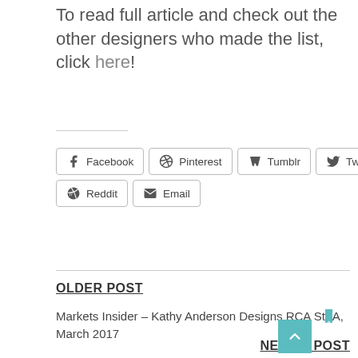To read full article and check out the other designers who made the list, click here!
Share buttons: Facebook, Pinterest, Tumblr, Twitter, Reddit, Email
OLDER POST
Markets Insider – Kathy Anderson Designs RCA St... A, March 2017
NEWER POST